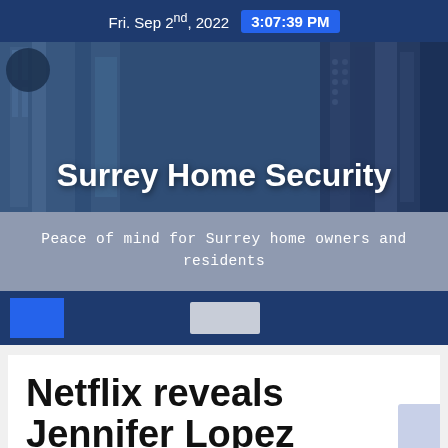Fri. Sep 2nd, 2022  3:07:39 PM
Surrey Home Security
Peace of mind for Surrey home owners and residents
[Figure (screenshot): Navigation bar with blue square button and search box on dark navy background]
Netflix reveals Jennifer Lopez ...